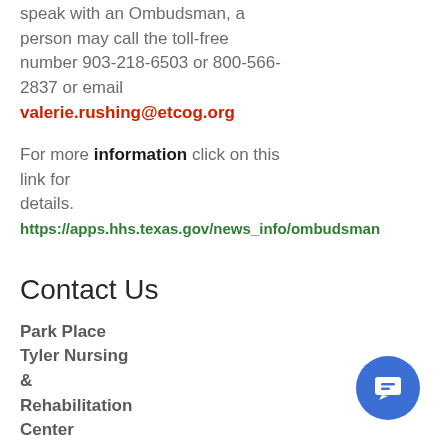speak with an Ombudsman, a person may call the toll-free number 903-218-6503 or 800-566-2837 or email valerie.rushing@etcog.org
For more information click on this link for details. https://apps.hhs.texas.gov/news_info/ombudsman
Contact Us
Park Place Tyler Nursing & Rehabilitation Center
2450 East 5th Street
Tyler, TX 75701